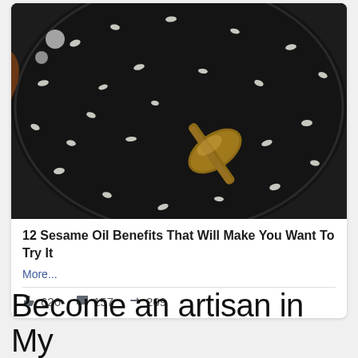[Figure (photo): Close-up photo of black sesame seeds in a dark pan with a wooden spoon, some white sesame seeds visible]
12 Sesame Oil Benefits That Will Make You Want To Try It
More...
👍 626  💬 157  ➤ 209
Become an artisan in My